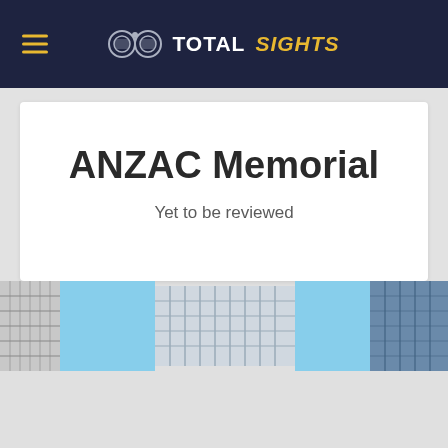TOTAL SIGHTS
ANZAC Memorial
Yet to be reviewed
[Figure (photo): Horizontal photo strip showing building facades with glass and steel grid patterns against a blue sky, split into three sections]